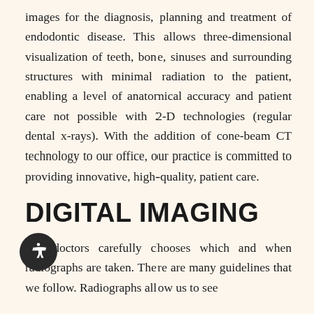images for the diagnosis, planning and treatment of endodontic disease. This allows three-dimensional visualization of teeth, bone, sinuses and surrounding structures with minimal radiation to the patient, enabling a level of anatomical accuracy and patient care not possible with 2-D technologies (regular dental x-rays). With the addition of cone-beam CT technology to our office, our practice is committed to providing innovative, high-quality, patient care.
DIGITAL IMAGING
Our doctors carefully chooses which and when radiographs are taken. There are many guidelines that we follow. Radiographs allow us to see